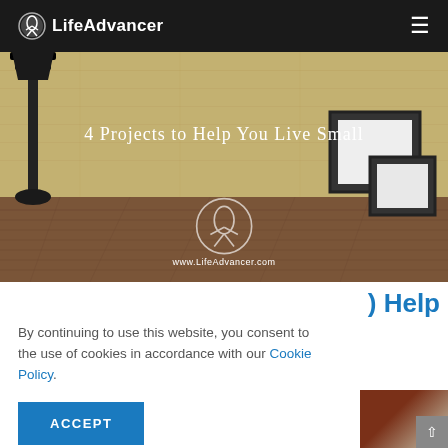LifeAdvancer
[Figure (photo): Hero image for '4 Projects to Help You Live Small' article showing a minimalist room interior with a tall black lamp stand, wooden floor, picture frames against a textured concrete wall, and the LifeAdvancer watermark logo with www.LifeAdvancer.com URL]
4 Projects to Help You Live Small
By continuing to use this website, you consent to the use of cookies in accordance with our Cookie Policy.
ACCEPT